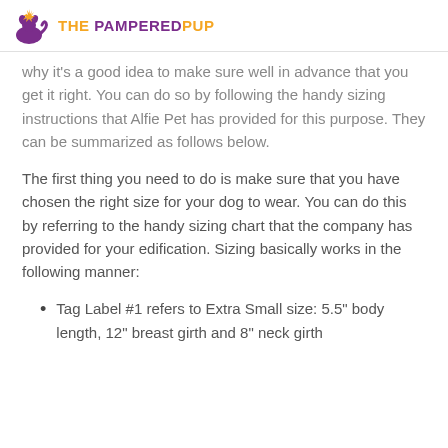THE PAMPERED PUP
Why it's a good idea to make sure well in advance that you get it right. You can do so by following the handy sizing instructions that Alfie Pet has provided for this purpose. They can be summarized as follows below.
The first thing you need to do is make sure that you have chosen the right size for your dog to wear. You can do this by referring to the handy sizing chart that the company has provided for your edification. Sizing basically works in the following manner:
Tag Label #1 refers to Extra Small size: 5.5" body length, 12" breast girth and 8" neck girth